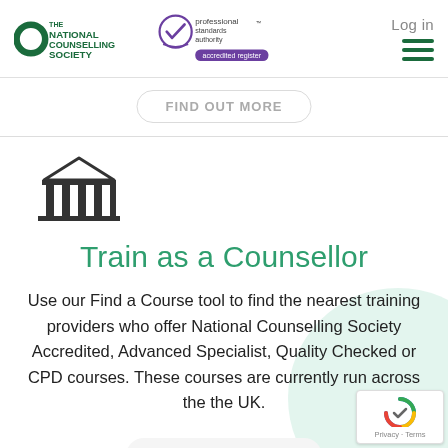[Figure (logo): The National Counselling Society logo with green circular icon and text]
[Figure (logo): Professional Standards Authority accredited register logo with purple checkmark]
Log in
FIND OUT MORE
[Figure (illustration): Building/institution icon (column-style building silhouette)]
Train as a Counsellor
Use our Find a Course tool to find the nearest training providers who offer National Counselling Society Accredited, Advanced Specialist, Quality Checked or CPD courses. These courses are currently run across the the UK.
FIND OUT MORE